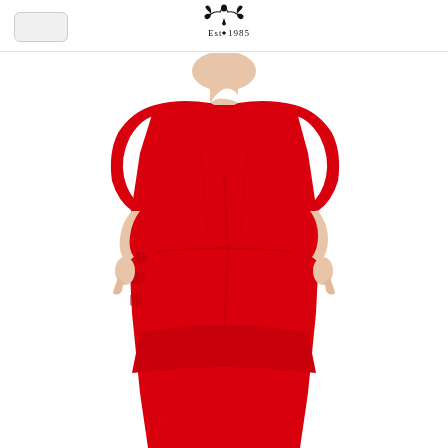[Figure (logo): Brand logo with ornamental crest design and text 'Est 1985']
[Figure (photo): Female model wearing a red fitted midi dress with asymmetric neckline and elbow-length sleeves, with ruched side detail. Model shown from neck to below knee on white background.]